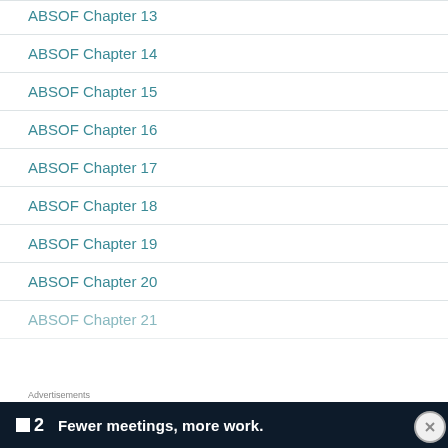ABSOF Chapter 13
ABSOF Chapter 14
ABSOF Chapter 15
ABSOF Chapter 16
ABSOF Chapter 17
ABSOF Chapter 18
ABSOF Chapter 19
ABSOF Chapter 20
ABSOF Chapter 21
Advertisements
[Figure (other): Advertisement banner: P2 logo with text 'Fewer meetings, more work.']